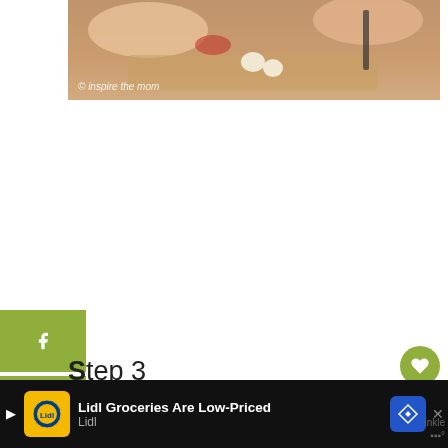[Figure (photo): Hands cutting or preparing food on a wooden cutting board, with a watermark reading '© inspire the mom']
Step 3
Lastly, fill with your carved apple mug with apple cider, making sure you leave enough room for whipped cream to go on top.
[Figure (infographic): What's Next widget showing thumbnail and text '50 Sensory Spelling...']
[Figure (infographic): Advertisement banner: Lidl Groceries Are Low-Priced, Lidl logo shown]